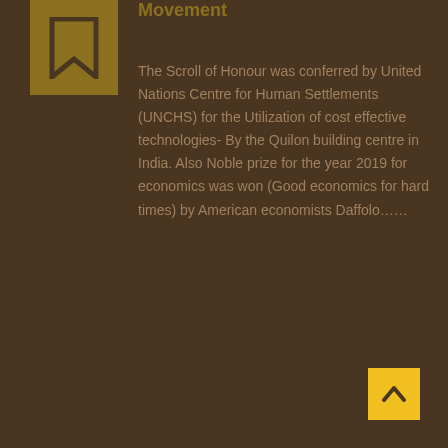[Figure (illustration): Gold bookmark icon on a dark gold/olive background square in the top-left corner]
Movement
The Scroll of Honour was conferred by United Nations Centre for Human Settlements (UNCHS) for the Utilization of cost effective technologies- By the Quilon building centre in India. Also Noble prize for the year 2019 for economics was won (Good economics for hard times) by American economists Daffolo……